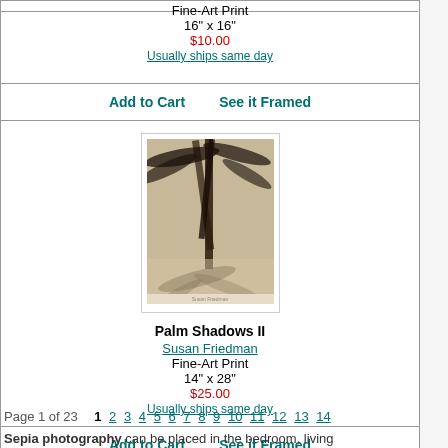Fine-Art Print
16" x 16"
$10.00
Usually ships same day
Add to Cart    See it Framed
[Figure (photo): Black and white photograph of palm trees with shadows, portrait orientation]
Palm Shadows II
Susan Friedman
Fine-Art Print
14" x 28"
$25.00
Usually ships same day
Add to Cart    See it Framed
Page 1 of 23   1 2 3 4 5 6 7 8 9 10 11 12 13 14
Sepia photography can be placed in the bedroom, living